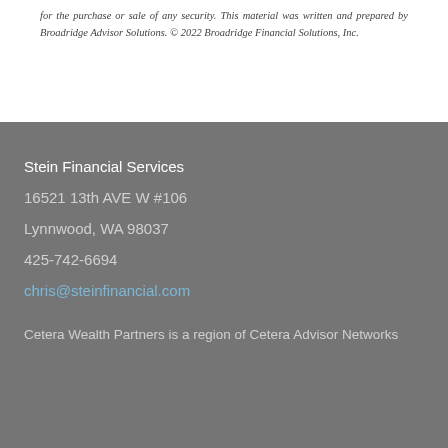for the purchase or sale of any security. This material was written and prepared by Broadridge Advisor Solutions. © 2022 Broadridge Financial Solutions, Inc.
Stein Financial Services
16521 13th AVE W #106
Lynnwood, WA 98037
425-742-6694
chris@steinfinancial.com
Cetera Wealth Partners is a region of Cetera Advisor Networks